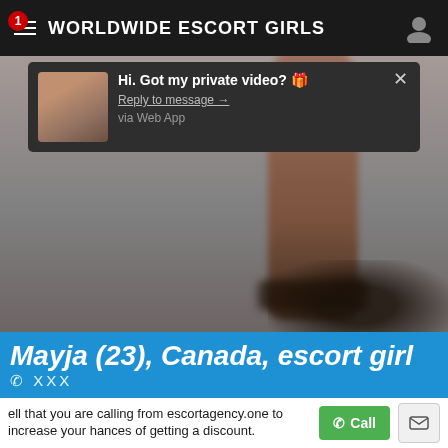WORLDWIDE ESCORT GIRLS
Hi. Got my private video? 🎁
Reply to message →
via Web App
[Figure (photo): Blurred photo of a person's leg/lower body against a neutral background, part of an escort website listing]
Mayja (23), Canada, escort girl
☎ XXX
Tell that you are calling from escortagency.one to increase your chances of getting a discount.